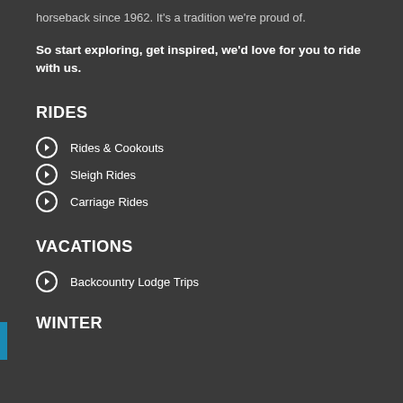horseback since 1962. It's a tradition we're proud of.
So start exploring, get inspired, we'd love for you to ride with us.
RIDES
Rides & Cookouts
Sleigh Rides
Carriage Rides
VACATIONS
Backcountry Lodge Trips
WINTER